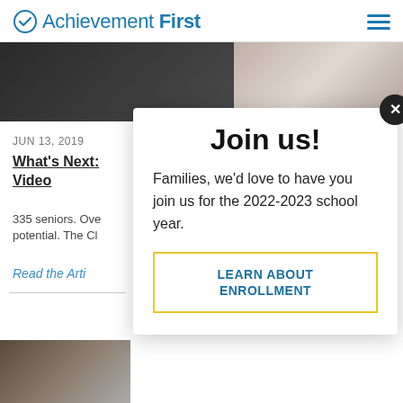Achievement First
[Figure (photo): Partial hero/banner image showing dark background, likely a classroom or person]
JUN 13, 2019
What's Next: Video
335 seniors. Ove potential. The Cl
Read the Arti
[Figure (screenshot): Modal popup overlay: Join us! Families, we'd love to have you join us for the 2022-2023 school year. LEARN ABOUT ENROLLMENT button]
[Figure (photo): Partial photo at bottom left corner]